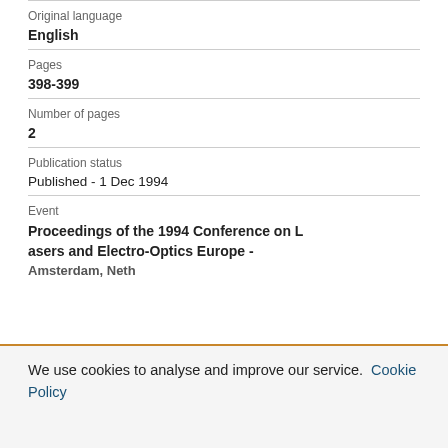Original language
English
Pages
398-399
Number of pages
2
Publication status
Published - 1 Dec 1994
Event
Proceedings of the 1994 Conference on Lasers and Electro-Optics Europe - Amsterdam, Neth
We use cookies to analyse and improve our service. Cookie Policy